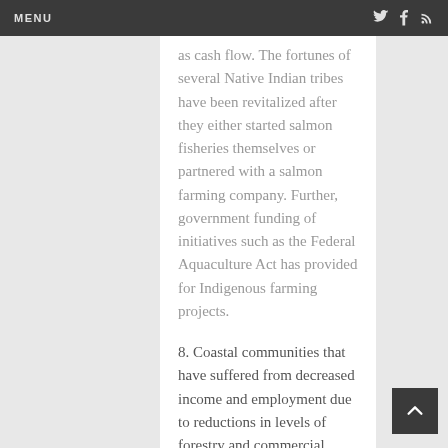MENU
as cash flow. The fortunes of several Native Indian tribes have been revitalized after they either started salmon fisheries themselves or partnered with a salmon farming company. Further, government funding of initiatives such as the Federal Aquaculture Act has provided for Indigenous farming projects.
8. Coastal communities that have suffered from decreased income and employment due to reductions in levels of forestry and commercial fishing can use salmon farming to make up for lost resources. Salmon farming can make up for lost incomes for families in these areas. Further, the benefits that have